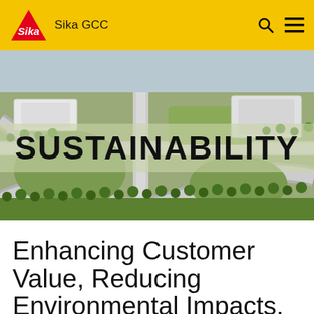Sika GCC
[Figure (photo): Aerial rendering of a green industrial or urban campus with roads, buildings, and landscaping. The word SUSTAINABILITY is overlaid in large bold uppercase letters on a semi-transparent olive-green background box.]
Enhancing Customer Value, Reducing Environmental Impacts,